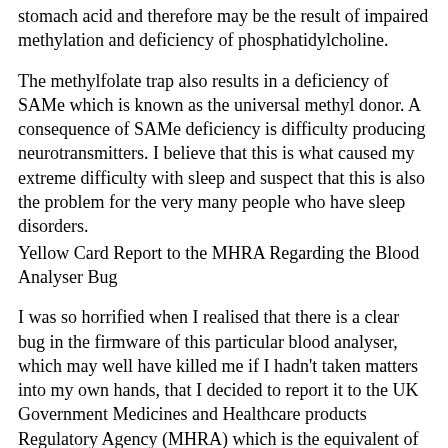stomach acid and therefore may be the result of impaired methylation and deficiency of phosphatidylcholine.
The methylfolate trap also results in a deficiency of SAMe which is known as the universal methyl donor. A consequence of SAMe deficiency is difficulty producing neurotransmitters. I believe that this is what caused my extreme difficulty with sleep and suspect that this is also the problem for the very many people who have sleep disorders.
Yellow Card Report to the MHRA Regarding the Blood Analyser Bug
I was so horrified when I realised that there is a clear bug in the firmware of this particular blood analyser, which may well have killed me if I hadn't taken matters into my own hands, that I decided to report it to the UK Government Medicines and Healthcare products Regulatory Agency (MHRA) which is the equivalent of the US FDA.
It is possible that, as part of my medical negligence case, I will be obliged to take action against the manufacturer of the blood analyser as well as they're clearly liable for such failures in their algorithms. The algorithm they use to determine whether or not the blood sample is dimorphic is clearly inadequate and there is no fail safe to ensure that haematology technicians don't miss the obvious signs of dimorphic red cell populations when they're clearly visible